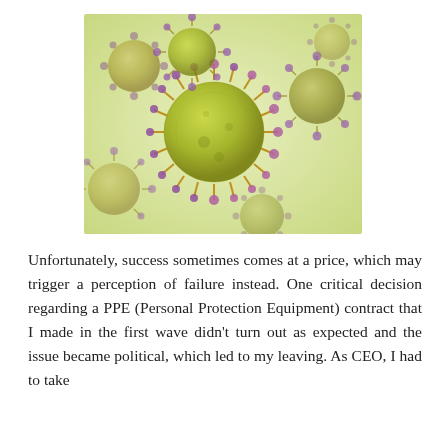[Figure (photo): Close-up illustration of coronavirus particles (spherical, spiky green and purple structures) on a light green background.]
Unfortunately, success sometimes comes at a price, which may trigger a perception of failure instead. One critical decision regarding a PPE (Personal Protection Equipment) contract that I made in the first wave didn't turn out as expected and the issue became political, which led to my leaving. As CEO, I had to take